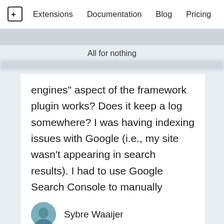Extensions   Documentation   Blog   Pricing
All for nothing
engines” aspect of the framework plugin works? Does it keep a log somewhere? I was having indexing issues with Google (i.e., my site wasn’t appearing in search results). I had to use Google Search Console to manually submit my sitemap in order for it to index… just figured I’d ask while I have your attention!
Sybre Waaijer